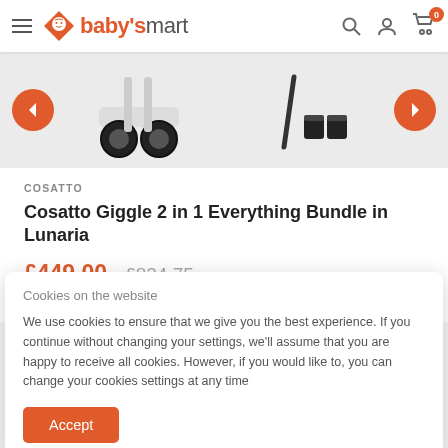baby's mart
[Figure (screenshot): Carousel image strip showing stroller wheels on the left and stroller attachment accessories on the right, with orange left and right navigation arrow buttons]
COSATTO
Cosatto Giggle 2 in 1 Everything Bundle in Lunaria
£449.00  £824.75
Cookies on the website
We use cookies to ensure that we give you the best experience. If you continue without changing your settings, we'll assume that you are happy to receive all cookies. However, if you would like to, you can change your cookies settings at any time
Accept